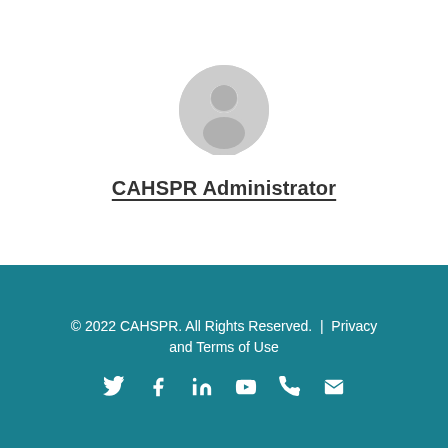[Figure (illustration): Generic user avatar icon in gray, showing a silhouette of a person (head and shoulders) as a circular icon]
CAHSPR Administrator
© 2022 CAHSPR. All Rights Reserved. | Privacy and Terms of Use
[Figure (illustration): Social media icons in white: Twitter, Facebook, LinkedIn, YouTube, Phone, Email]